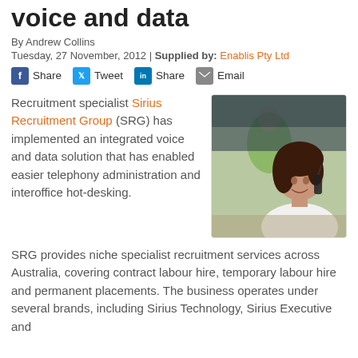voice and data
By Andrew Collins
Tuesday, 27 November, 2012 | Supplied by: Enablis Pty Ltd
Share  Tweet  Share  Email
Recruitment specialist Sirius Recruitment Group (SRG) has implemented an integrated voice and data solution that has enabled easier telephony administration and interoffice hot-desking.
[Figure (photo): Woman smiling while talking on a telephone, in an office environment with blurred background.]
SRG provides niche specialist recruitment services across Australia, covering contract labour hire, temporary labour hire and permanent placements. The business operates under several brands, including Sirius Technology, Sirius Executive and